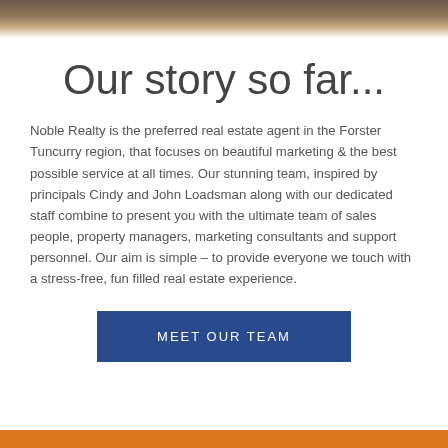[Figure (photo): Dark brown/tan background image strip at the top of the page, resembling a wooden or earthy texture]
Our story so far...
Noble Realty is the preferred real estate agent in the Forster Tuncurry region, that focuses on beautiful marketing & the best possible service at all times. Our stunning team, inspired by principals Cindy and John Loadsman along with our dedicated staff combine to present you with the ultimate team of sales people, property managers, marketing consultants and support personnel. Our aim is simple – to provide everyone we touch with a stress-free, fun filled real estate experience.
MEET OUR TEAM